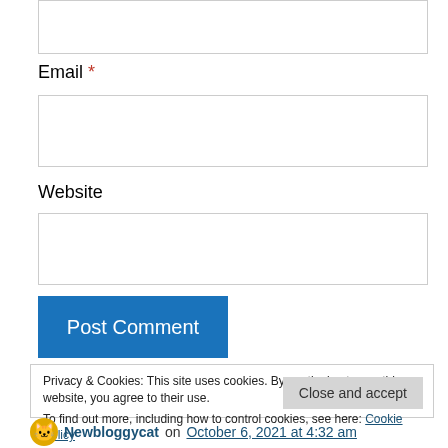[Figure (other): Text input field (top, partially visible)]
Email *
[Figure (other): Email input field]
Website
[Figure (other): Website input field]
Post Comment
Privacy & Cookies: This site uses cookies. By continuing to use this website, you agree to their use.
To find out more, including how to control cookies, see here: Cookie Policy
Close and accept
Newbloggycat on October 6, 2021 at 4:32 am